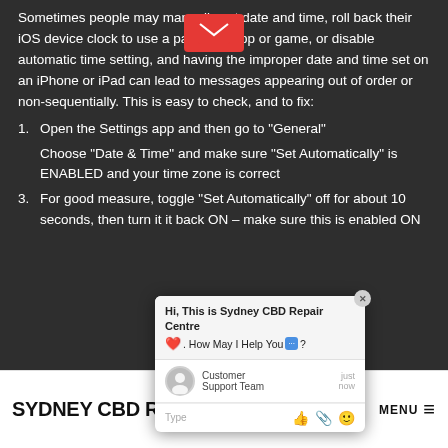Sometimes people may manually set date and time, roll back their iOS device clock to use a particular app or game, or disable automatic time setting, and having the improper date and time set on an iPhone or iPad can lead to messages appearing out of order or non-sequentially. This is easy to check, and to fix:
1. Open the Settings app and then go to "General"
2. Choose "Date & Time" and make sure "Set Automatically" is ENABLED and your time zone is correct
3. For good measure, toggle "Set Automatically" off for about 10 seconds, then turn it it back ON – make sure this is enabled ON
[Figure (screenshot): Chat popup overlay from Sydney CBD Repair Centre showing a chat widget with header 'Hi, This is Sydney CBD Repair Centre ❤️. How May I Help You 💬?', an agent row labeled 'Customer Support Team' with timestamp 'just now', and a text input bar with icons.]
SYDNEY CBD REPAIR CENTRE MENU ≡